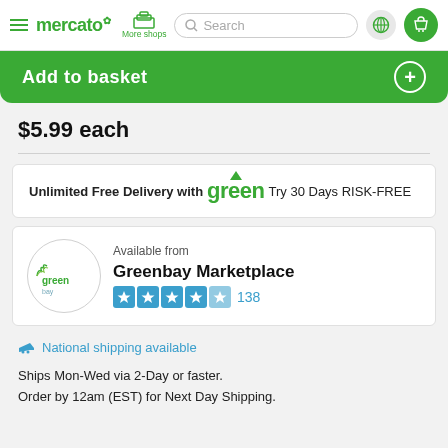mercato — More shops — Search — Navigation bar
Add to basket
$5.99 each
Unlimited Free Delivery with green Try 30 Days RISK-FREE
Available from
Greenbay Marketplace
138
✈ National shipping available
Ships Mon-Wed via 2-Day or faster.
Order by 12am (EST) for Next Day Shipping.